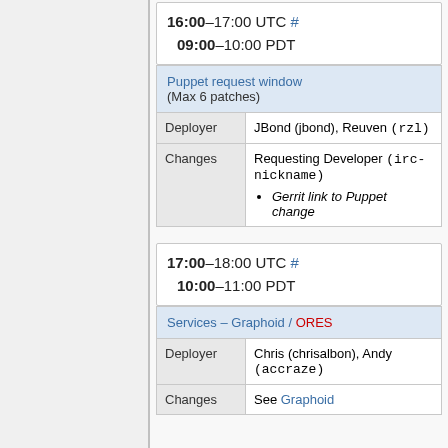16:00–17:00 UTC # 09:00–10:00 PDT
| Puppet request window (Max 6 patches) |  |
| Deployer | JBond (jbond), Reuven (rzl) |
| Changes | Requesting Developer (irc-nickname) • Gerrit link to Puppet change |
17:00–18:00 UTC # 10:00–11:00 PDT
| Services – Graphoid / ORES |  |
| Deployer | Chris (chrisalbon), Andy (accraze) |
| Changes | See Graphoid |